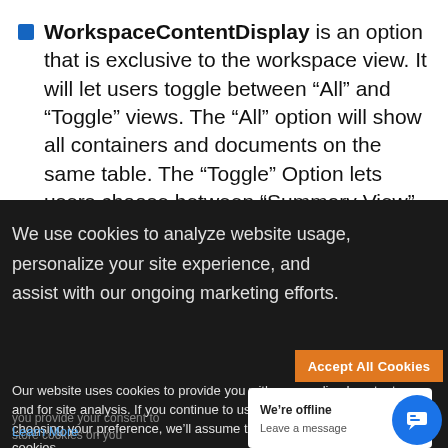WorkspaceContentDisplay is an option that is exclusive to the workspace view. It will let users toggle between “All” and “Toggle” views. The “All” option will show all containers and documents on the same table. The “Toggle” Option lets users choose between “Summary View”
We use cookies to analyze website usage, personalize your site experience, and assist with our ongoing marketing efforts.
Our website uses cookies to provide you with personalized content and for site analysis. If you continue to use the site without choosing your preference, we’ll assume that you’re fine with cookies.
Learn More
We’re offline
Leave a message